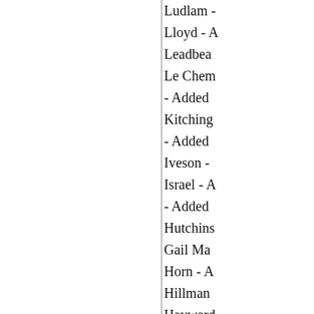Ludlam -
Lloyd - A
Leadbea
Le Chem
- Added
Kitching
- Added
Iveson -
Israel - A
- Added
Hutchins
Gail Ma
Horn - A
Hillman
Hayward
- Added
Graves -
Fuller - A
Fuller - A
Farnham
Fairclou
Everet -
Dunn - A
Cole - A
Champ -
Butler -